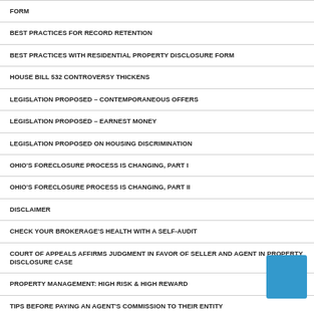FORM
BEST PRACTICES FOR RECORD RETENTION
BEST PRACTICES WITH RESIDENTIAL PROPERTY DISCLOSURE FORM
HOUSE BILL 532 CONTROVERSY THICKENS
LEGISLATION PROPOSED – CONTEMPORANEOUS OFFERS
LEGISLATION PROPOSED – EARNEST MONEY
LEGISLATION PROPOSED ON HOUSING DISCRIMINATION
OHIO'S FORECLOSURE PROCESS IS CHANGING, PART I
OHIO'S FORECLOSURE PROCESS IS CHANGING, PART II
DISCLAIMER
CHECK YOUR BROKERAGE'S HEALTH WITH A SELF-AUDIT
COURT OF APPEALS AFFIRMS JUDGMENT IN FAVOR OF SELLER AND AGENT IN PROPERTY DISCLOSURE CASE
PROPERTY MANAGEMENT: HIGH RISK & HIGH REWARD
TIPS BEFORE PAYING AN AGENT'S COMMISSION TO THEIR ENTITY